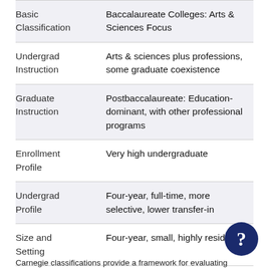| Category | Classification |
| --- | --- |
| Basic Classification | Baccalaureate Colleges: Arts & Sciences Focus |
| Undergrad Instruction | Arts & sciences plus professions, some graduate coexistence |
| Graduate Instruction | Postbaccalaureate: Education-dominant, with other professional programs |
| Enrollment Profile | Very high undergraduate |
| Undergrad Profile | Four-year, full-time, more selective, lower transfer-in |
| Size and Setting | Four-year, small, highly residential |
Carnegie classifications provide a framework for evaluating